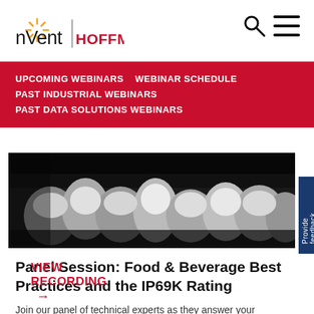[Figure (logo): nVent HOFFMAN logo with sunburst icon]
[Figure (other): Search icon and hamburger menu icon in top right corner]
UPCOMING WEBINARS   WEBINAR SCHEDULE   PAST INDUSTRIAL WEBINARS   PAST DATA SOLUTIONS WEBINARS
[Figure (photo): Black and white photo of food items (garlic/vegetables) in a food & beverage industrial setting]
Panel Session: Food & Beverage Best Practices and the IP69K Rating
Join our panel of technical experts as they answer your questions about food & beverage best practices and the IP69K rating.
VIEW RECORDING →